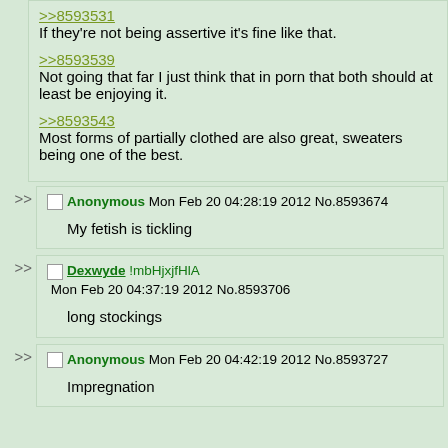>>8593531
If they're not being assertive it's fine like that.

>>8593539
Not going that far I just think that in porn that both should at least be enjoying it.

>>8593543
Most forms of partially clothed are also great, sweaters being one of the best.
Anonymous Mon Feb 20 04:28:19 2012 No.8593674
My fetish is tickling
Dexwyde !mbHjxjfHlA Mon Feb 20 04:37:19 2012 No.8593706
long stockings
Anonymous Mon Feb 20 04:42:19 2012 No.8593727
Impregnation